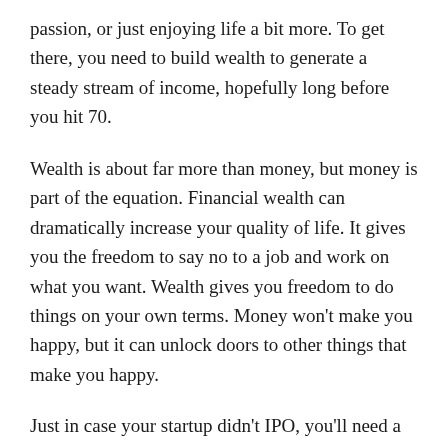passion, or just enjoying life a bit more. To get there, you need to build wealth to generate a steady stream of income, hopefully long before you hit 70.
Wealth is about far more than money, but money is part of the equation. Financial wealth can dramatically increase your quality of life. It gives you the freedom to say no to a job and work on what you want. Wealth gives you freedom to do things on your own terms. Money won't make you happy, but it can unlock doors to other things that make you happy.
Just in case your startup didn't IPO, you'll need a plan for building wealth. Investing is the surest path to building wealth so that you don't need to depend on your day job. There are plenty of other ways that may be faster or easier for some people, but investing can work for everyone. We